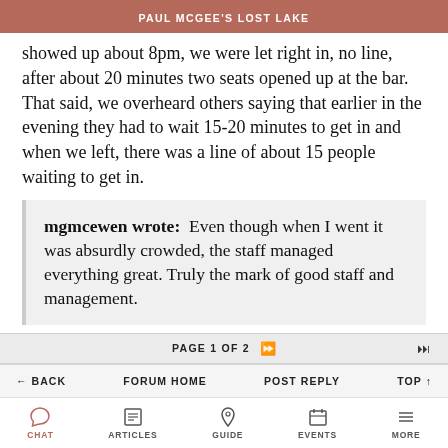PAUL MCGEE'S LOST LAKE
showed up about 8pm, we were let right in, no line, after about 20 minutes two seats opened up at the bar. That said, we overheard others saying that earlier in the evening they had to wait 15-20 minutes to get in and when we left, there was a line of about 15 people waiting to get in.
mgmcewen wrote:  Even though when I went it was absurdly crowded, the staff managed everything great. Truly the mark of good staff and management.
PAGE 1 OF 2
← BACK   FORUM HOME   POST REPLY   TOP ↑
CHAT   ARTICLES   GUIDE   EVENTS   MORE